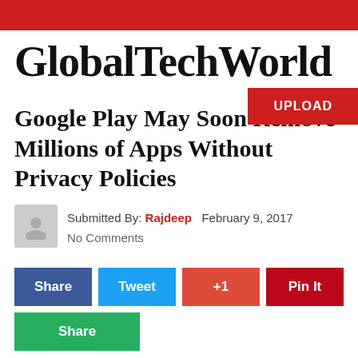GlobalTechWorld
UPLOAD
Google Play May Soon Remove Millions of Apps Without Privacy Policies
Submitted By: Rajdeep  February 9, 2017
No Comments
Share  Tweet  +1  Pin It
Share